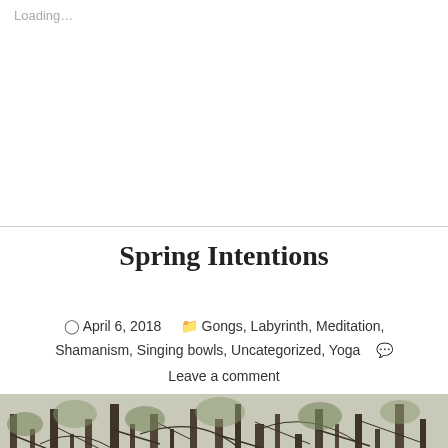Loading…
Spring Intentions
April 6, 2018   Gongs, Labyrinth, Meditation, Shamanism, Singing bowls, Uncategorized, Yoga   Leave a comment
[Figure (photo): A dense forest scene with bare and leafing trees, tangled branches and vines, taken in early spring with muted green and brown tones.]